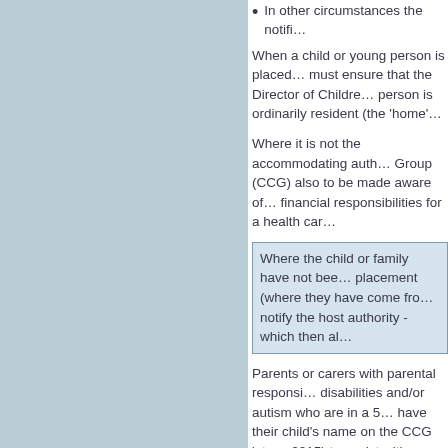In other circumstances the notifi…
When a child or young person is placed… must ensure that the Director of Childre… person is ordinarily resident (the 'home'…
Where it is not the accommodating auth… Group (CCG) also to be made aware of… financial responsibilities for a health car…
Where the child or family have not bee… placement (where they have come fro… notify the host authority - which then al…
Parents or carers with parental responsi… disabilities and/or autism who are in a 5… have their child's name on the CCG 'at r… 2015) to assist with strategic planning a…
Advocacy
The responsible local authority should e… placements have accessible means of r…
Children and young people in long-term… require the support of an advocacy serv…